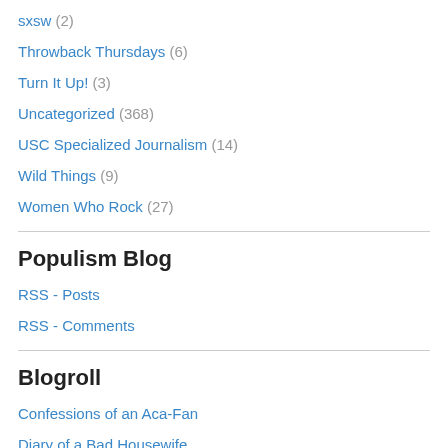sxsw (2)
Throwback Thursdays (6)
Turn It Up! (3)
Uncategorized (368)
USC Specialized Journalism (14)
Wild Things (9)
Women Who Rock (27)
Populism Blog
RSS - Posts
RSS - Comments
Blogroll
Confessions of an Aca-Fan
Diary of a Bad Housewife
Evelyn's Twitter